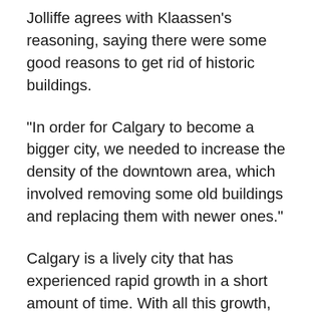Jolliffe agrees with Klaassen's reasoning, saying there were some good reasons to get rid of historic buildings.
“In order for Calgary to become a bigger city, we needed to increase the density of the downtown area, which involved removing some old buildings and replacing them with newer ones.”
Calgary is a lively city that has experienced rapid growth in a short amount of time. With all this growth, according to Jolliffe and Klaassen, the city has needed to find ways to quickly develop and expand in order to accommodate for its fast-growing population.